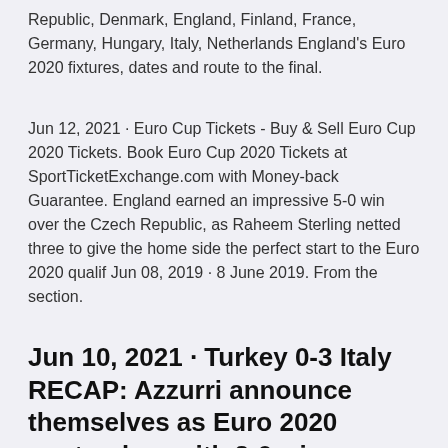Republic, Denmark, England, Finland, France, Germany, Hungary, Italy, Netherlands England's Euro 2020 fixtures, dates and route to the final.
Jun 12, 2021 · Euro Cup Tickets - Buy & Sell Euro Cup 2020 Tickets. Book Euro Cup 2020 Tickets at SportTicketExchange.com with Money-back Guarantee. England earned an impressive 5-0 win over the Czech Republic, as Raheem Sterling netted three to give the home side the perfect start to the Euro 2020 qualif Jun 08, 2019 · 8 June 2019. From the section.
Jun 10, 2021 · Turkey 0-3 Italy RECAP: Azzurri announce themselves as Euro 2020 contenders with 3-0 win. Scotland